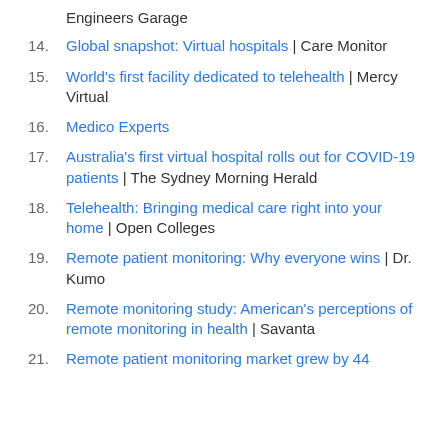Engineers Garage
14. Global snapshot: Virtual hospitals | Care Monitor
15. World's first facility dedicated to telehealth | Mercy Virtual
16. Medico Experts
17. Australia's first virtual hospital rolls out for COVID-19 patients | The Sydney Morning Herald
18. Telehealth: Bringing medical care right into your home | Open Colleges
19. Remote patient monitoring: Why everyone wins | Dr. Kumo
20. Remote monitoring study: American's perceptions of remote monitoring in health | Savanta
21. Remote patient monitoring market grew by 44 percent in 2021 | MobileHealth News